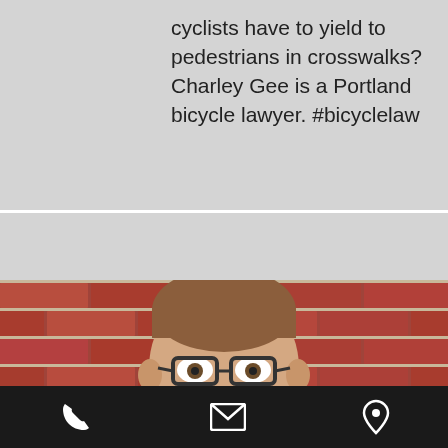cyclists have to yield to pedestrians in crosswalks? Charley Gee is a Portland bicycle lawyer. #bicyclelaw
[Figure (photo): Headshot of a man with short brown hair and glasses, smiling slightly, standing in front of a red brick wall. The photo is cropped at the shoulders.]
[Figure (other): Dark action bar at the bottom with three icons: a phone icon on the left, an envelope/mail icon in the center, and a location pin icon on the right.]